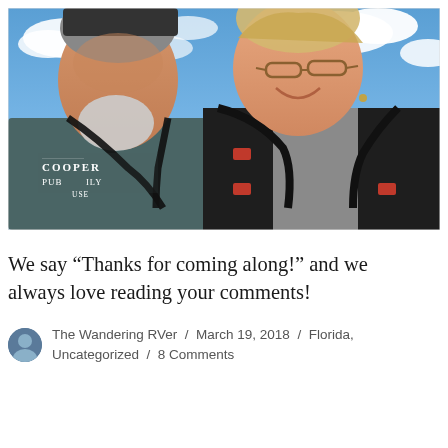[Figure (photo): Outdoor selfie of a man and woman smiling in front of a blue sky with clouds. The man on the left is wearing a grey sleeveless shirt reading 'COOPER PUB...' and has a white beard. The woman on the right is wearing a black vest over a grey tank top and glasses. Both are wearing camera straps.]
We say “Thanks for coming along!” and we always love reading your comments!
The Wandering RVer / March 19, 2018 / Florida, Uncategorized / 8 Comments